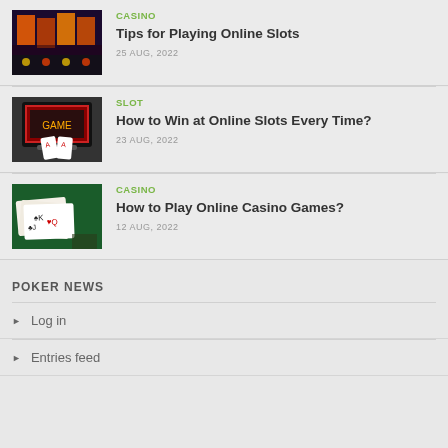[Figure (photo): Casino slot machines interior photo]
CASINO
Tips for Playing Online Slots
25 AUG, 2022
[Figure (photo): Laptop with game and hands holding playing cards photo]
SLOT
How to Win at Online Slots Every Time?
23 AUG, 2022
[Figure (photo): Playing cards on green casino table photo]
CASINO
How to Play Online Casino Games?
12 AUG, 2022
POKER NEWS
Log in
Entries feed